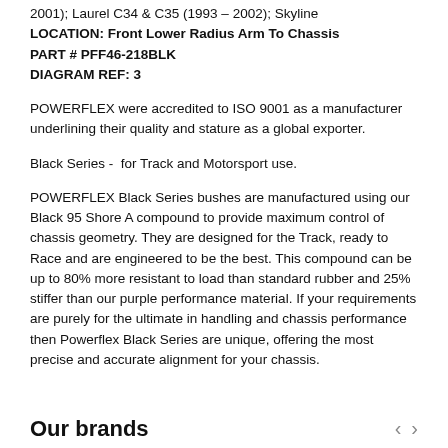2001); Laurel C34 & C35 (1993 – 2002); Skyline
LOCATION: Front Lower Radius Arm To Chassis
PART # PFF46-218BLK
DIAGRAM REF: 3
POWERFLEX were accredited to ISO 9001 as a manufacturer underlining their quality and stature as a global exporter.
Black Series - for Track and Motorsport use.
POWERFLEX Black Series bushes are manufactured using our Black 95 Shore A compound to provide maximum control of chassis geometry. They are designed for the Track, ready to Race and are engineered to be the best. This compound can be up to 80% more resistant to load than standard rubber and 25% stiffer than our purple performance material. If your requirements are purely for the ultimate in handling and chassis performance then Powerflex Black Series are unique, offering the most precise and accurate alignment for your chassis.
Our brands
‹ ›